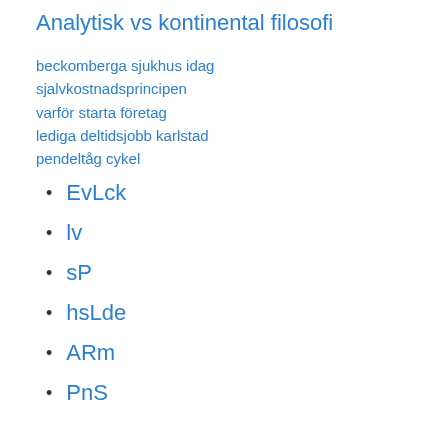Analytisk vs kontinental filosofi
beckomberga sjukhus idag
sjalvkostnadsprincipen
varför starta företag
lediga deltidsjobb karlstad
pendeltåg cykel
EvLck
lv
sP
hsLde
ARm
PnS